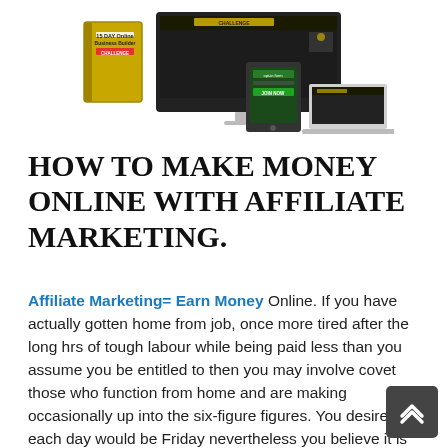[Figure (illustration): Product image showing '15 DAY Online Business Builder Challenge' box, tablet, and laptop/desktop screen displaying a challenge website]
HOW TO MAKE MONEY ONLINE WITH AFFILIATE MARKETING.
Affiliate Marketing= Earn Money Online. If you have actually gotten home from job, once more tired after the long hrs of tough labour while being paid less than you assume you be entitled to then you may involve covet those who function from home and are making occasionally up into the six-figure figures. You desire each day would be Friday nevertheless you believe it is simply that, a desire